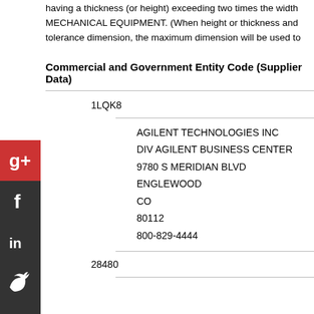having a thickness (or height) exceeding two times the width MECHANICAL EQUIPMENT. (When height or thickness and tolerance dimension, the maximum dimension will be used to
Commercial and Government Entity Code (Supplier Data)
1LQK8
AGILENT TECHNOLOGIES INC
DIV AGILENT BUSINESS CENTER
9780 S MERIDIAN BLVD
ENGLEWOOD
CO
80112
800-829-4444
28480